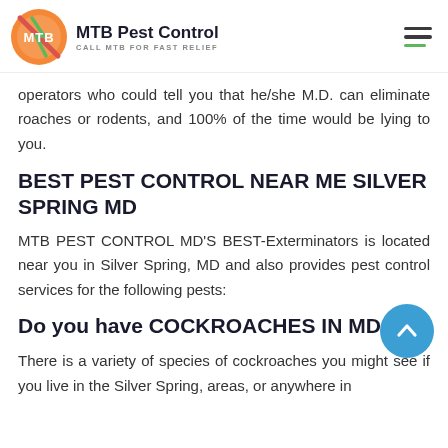MTB Pest Control — CALL MTB FOR FAST RELIEF
operators who could tell you that he/she M.D. can eliminate roaches or rodents, and 100% of the time would be lying to you.
BEST PEST CONTROL NEAR ME SILVER SPRING MD
MTB PEST CONTROL MD'S BEST-Exterminators is located near you in Silver Spring, MD and also provides pest control services for the following pests:
Do you have COCKROACHES IN MD?
There is a variety of species of cockroaches you might see if you live in the Silver Spring, areas, or anywhere in